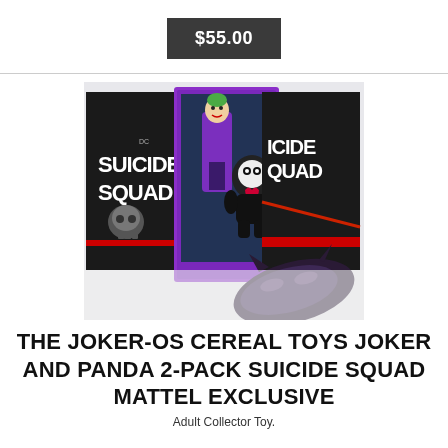$55.00
[Figure (photo): Product photo showing Suicide Squad Joker-Os cereal toy 2-pack with Joker and Panda figures in purple-framed packaging, two black Suicide Squad branded boxes, and a dark Batman mask in the foreground on a white surface.]
THE JOKER-OS CEREAL TOYS JOKER AND PANDA 2-PACK SUICIDE SQUAD MATTEL EXCLUSIVE
Adult Collector Toy.